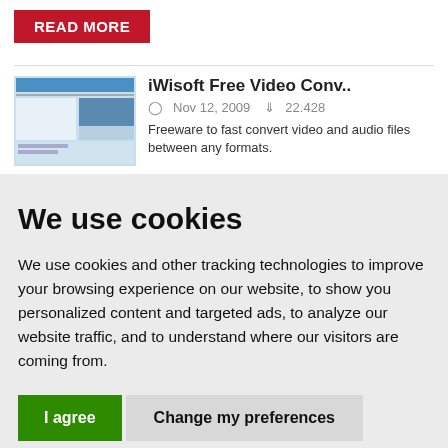[Figure (screenshot): Red 'READ MORE' button]
[Figure (screenshot): Software thumbnail for iWisoft Free Video Converter showing application screenshot]
iWisoft Free Video Conv..
Nov 12, 2009   22.428
Freeware to fast convert video and audio files between any formats.
We use cookies
We use cookies and other tracking technologies to improve your browsing experience on our website, to show you personalized content and targeted ads, to analyze our website traffic, and to understand where our visitors are coming from.
I agree
Change my preferences